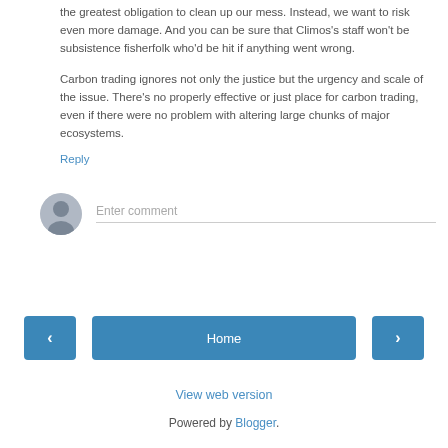the greatest obligation to clean up our mess. Instead, we want to risk even more damage. And you can be sure that Climos's staff won't be subsistence fisherfolk who'd be hit if anything went wrong.
Carbon trading ignores not only the justice but the urgency and scale of the issue. There's no properly effective or just place for carbon trading, even if there were no problem with altering large chunks of major ecosystems.
Reply
[Figure (other): User avatar icon placeholder circle with person silhouette]
Enter comment
‹
Home
›
View web version
Powered by Blogger.